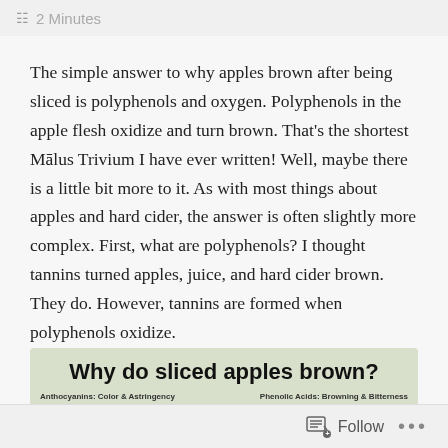≡ 2 Minutes
The simple answer to why apples brown after being sliced is polyphenols and oxygen. Polyphenols in the apple flesh oxidize and turn brown. That's the shortest Mālus Trivium I have ever written! Well, maybe there is a little bit more to it. As with most things about apples and hard cider, the answer is often slightly more complex. First, what are polyphenols? I thought tannins turned apples, juice, and hard cider brown. They do. However, tannins are formed when polyphenols oxidize.
[Figure (infographic): Infographic with sage green background titled 'Why do sliced apples brown?' with subtitle labels 'Anthocyanins: Color & Astringency' on the left and 'Phenolic Acids: Browning & Bitterness' on the right]
Follow •••